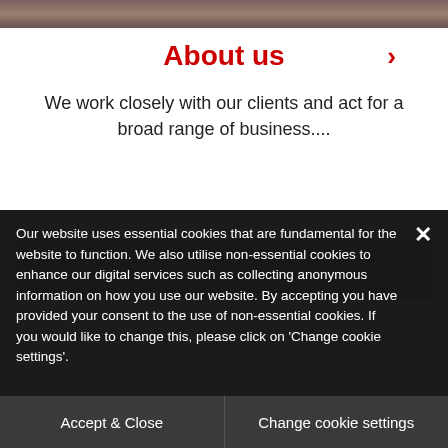[Figure (photo): Partial view of people at top of page, cropped photo strip]
About us
We work closely with our clients and act for a broad range of business....
[Figure (photo): Partial view of person, cropped photo strip]
Our website uses essential cookies that are fundamental for the website to function. We also utilise non-essential cookies to enhance our digital services such as collecting anonymous information on how you use our website. By accepting you have provided your consent to the use of non-essential cookies. If you would like to change this, please click on 'Change cookie settings'.
Accept & Close
Change cookie settings